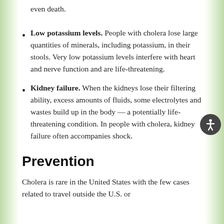even death.
Low potassium levels. People with cholera lose large quantities of minerals, including potassium, in their stools. Very low potassium levels interfere with heart and nerve function and are life-threatening.
Kidney failure. When the kidneys lose their filtering ability, excess amounts of fluids, some electrolytes and wastes build up in the body — a potentially life-threatening condition. In people with cholera, kidney failure often accompanies shock.
Prevention
Cholera is rare in the United States with the few cases related to travel outside the U.S. or